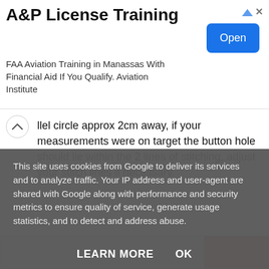[Figure (other): Advertisement banner for A&P License Training. Title: 'A&P License Training'. Description: 'FAA Aviation Training in Manassas With Financial Aid If You Qualify. Aviation Institute'. Blue 'Open' button on right. AdChoices icon and close X in top-right.]
llel circle approx 2cm away, if your measurements were on target the button hole should lie within the 2 lines of stitching, adjust your stitch lines if necessary.
[Figure (photo): Partially visible image strip showing two images side by side — a light grey image on the left and a dark red/brown image on the right.]
This site uses cookies from Google to deliver its services and to analyze traffic. Your IP address and user-agent are shared with Google along with performance and security metrics to ensure quality of service, generate usage statistics, and to detect and address abuse.
LEARN MORE    OK